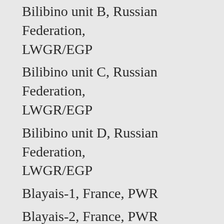Bilibino unit B, Russian Federation, LWGR/EGP
Bilibino unit C, Russian Federation, LWGR/EGP
Bilibino unit D, Russian Federation, LWGR/EGP
Blayais-1, France, PWR
Blayais-2, France, PWR
Blayais-3, France, PWR
Blayais-4, France, PWR
Bohunice-1, Slovak Republic, PWR/VVER
Bohunice-2, Slovak Republic, PWR/VVER
Bohunice-3, Slovak Republic, PWR/VVER
Bohunice-4, Slovak Republic, PWR/VVER
Borssele, Netherlands, PWR